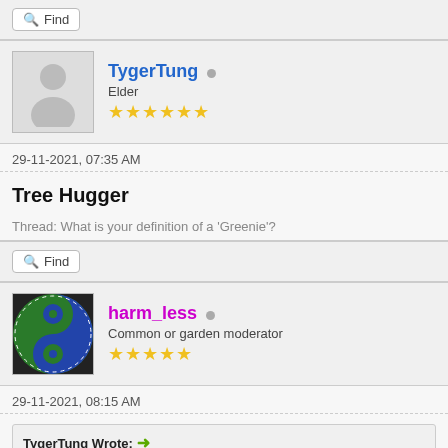Find
[Figure (photo): Default user avatar silhouette (grey background, person outline)]
TygerTung (online indicator) Elder ★★★★★★
29-11-2021, 07:35 AM
Tree Hugger
Thread: What is your definition of a 'Greenie'?
Find
[Figure (photo): Yin-yang avatar in green and blue colors]
harm_less (online indicator) Common or garden moderator ★★★★★
29-11-2021, 08:15 AM
TygerTung Wrote: →